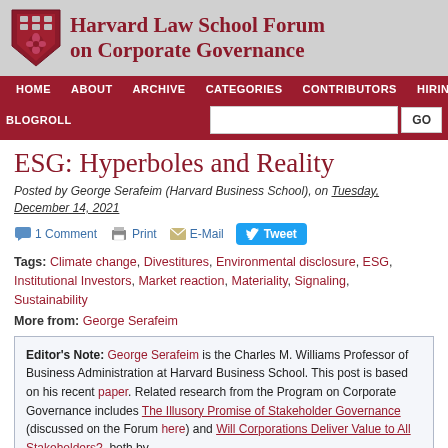Harvard Law School Forum on Corporate Governance
ESG: Hyperboles and Reality
Posted by George Serafeim (Harvard Business School), on Tuesday, December 14, 2021
1 Comment  Print  E-Mail  Tweet
Tags: Climate change, Divestitures, Environmental disclosure, ESG, Institutional Investors, Market reaction, Materiality, Signaling, Sustainability
More from: George Serafeim
Editor's Note: George Serafeim is the Charles M. Williams Professor of Business Administration at Harvard Business School. This post is based on his recent paper. Related research from the Program on Corporate Governance includes The Illusory Promise of Stakeholder Governance (discussed on the Forum here) and Will Corporations Deliver Value to All Stakeholders?, both by